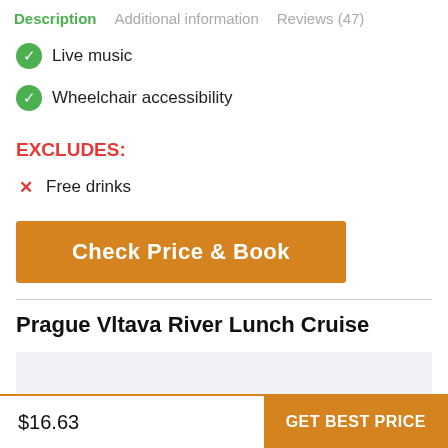Description  Additional information  Reviews (47)
Live music
Wheelchair accessibility
EXCLUDES:
Free drinks
[Figure (other): Orange button: Check Price & Book]
Prague Vltava River Lunch Cruise
[Figure (other): Product image placeholder (light grey box)]
$16.63   GET BEST PRICE